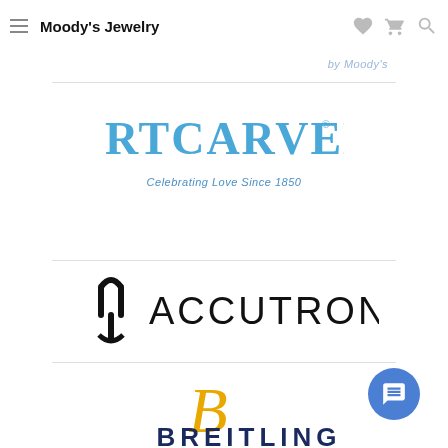Moody's Jewelry
by Moody's
[Figure (logo): ArtCarved logo with tagline 'Celebrating Love Since 1850' in blue]
[Figure (logo): Accutron logo with tuning fork symbol in black]
[Figure (logo): Breitling logo — gold script 'B' emblem with 'BREITLING' text in dark navy blue, partially cut off at bottom]